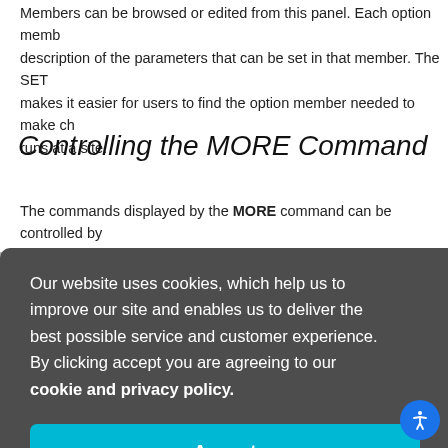Members can be browsed or edited from this panel. Each option member description of the parameters that can be set in that member. The SET makes it easier for users to find the option member needed to make ch runs at a site.
Controlling the MORE Command
The commands displayed by the MORE command can be controlled by parm on the B23ALLOW GROUP macro.
[Figure (screenshot): Cookie consent dialog overlay with dark grey background. Text reads: 'Our website uses cookies, which help us to improve our site and enables us to deliver the best possible service and customer experience. By clicking accept you are agreeing to our cookie and privacy policy.' with a cyan Accept button below. Partial monospace text visible on the right side behind the overlay.]